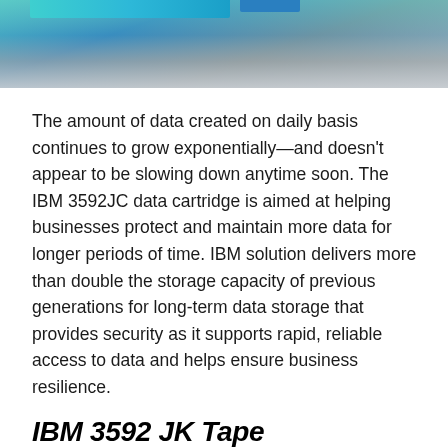[Figure (photo): Top portion of a technology/data center photograph showing bluish-teal and gray tones, partially cropped at top of page]
The amount of data created on daily basis continues to grow exponentially—and doesn't appear to be slowing down anytime soon. The IBM 3592JC data cartridge is aimed at helping businesses protect and maintain more data for longer periods of time. IBM solution delivers more than double the storage capacity of previous generations for long-term data storage that provides security as it supports rapid, reliable access to data and helps ensure business resilience.
IBM 3592 JK Tape